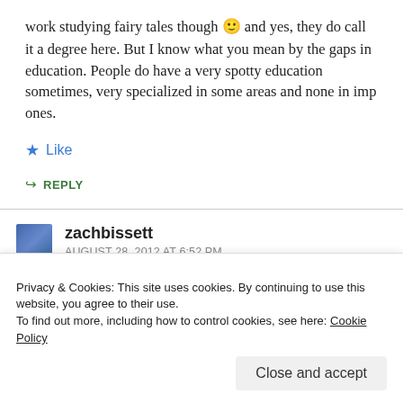work studying fairy tales though 🙂 and yes, they do call it a degree here. But I know what you mean by the gaps in education. People do have a very spotty education sometimes, very specialized in some areas and none in imp ones.
★ Like
↪ REPLY
zachbissett
AUGUST 28, 2012 AT 6:52 PM
Privacy & Cookies: This site uses cookies. By continuing to use this website, you agree to their use. To find out more, including how to control cookies, see here: Cookie Policy
Close and accept